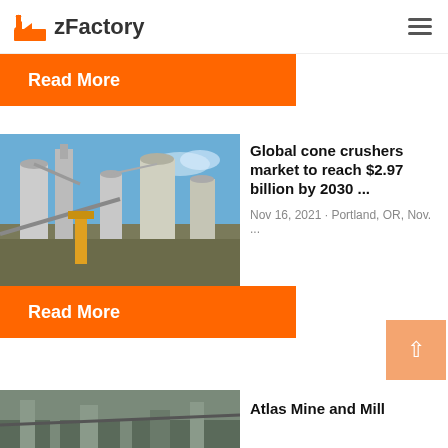zFactory
Read More
[Figure (photo): Industrial plant with silos, conveyor belts and equipment against a blue sky]
Global cone crushers market to reach $2.97 billion by 2030 ...
Nov 16, 2021 · Portland, OR, Nov. ...
Read More
[Figure (photo): Scroll-to-top button with upward chevron arrow, peach/salmon color]
[Figure (photo): Bottom article teaser image, partially visible]
Atlas Mine and Mill